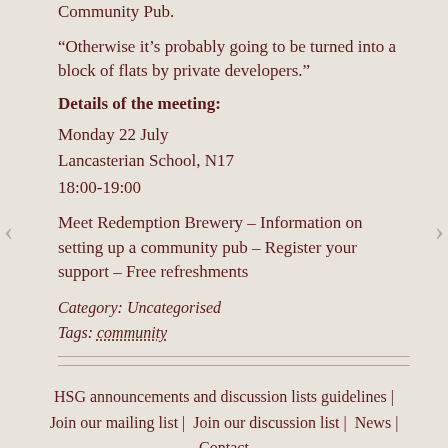Community Pub.
“Otherwise it’s probably going to be turned into a block of flats by private developers.”
Details of the meeting:
Monday 22 July
Lancasterian School, N17
18:00-19:00
Meet Redemption Brewery – Information on setting up a community pub – Register your support – Free refreshments
Category: Uncategorised
Tags: community
HSG announcements and discussion lists guidelines | Join our mailing list | Join our discussion list | News | Contact
Site by Don Atherton Web Design. Powered by WordPress